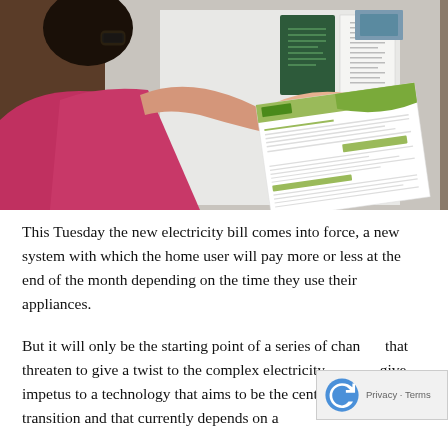[Figure (photo): A person holding and reading an electricity bill document, standing in front of a wall with papers and documents pinned to it. The person is wearing glasses and a pink top, viewed from behind/side.]
This Tuesday the new electricity bill comes into force, a new system with which the home user will pay more or less at the end of the month depending on the time they use their appliances.
But it will only be the starting point of a series of changes that threaten to give a twist to the complex electricity give impetus to a technology that aims to be the cent the energy transition and that currently depends on a